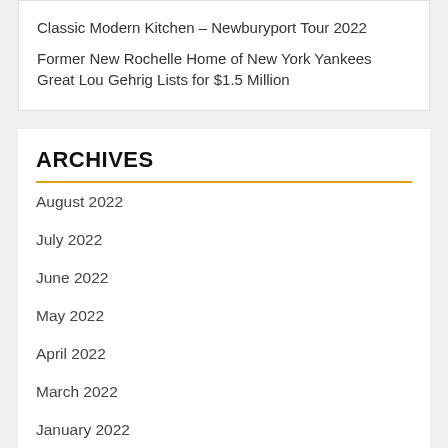Classic Modern Kitchen – Newburyport Tour 2022
Former New Rochelle Home of New York Yankees Great Lou Gehrig Lists for $1.5 Million
ARCHIVES
August 2022
July 2022
June 2022
May 2022
April 2022
March 2022
January 2022
October 2021
September 2021